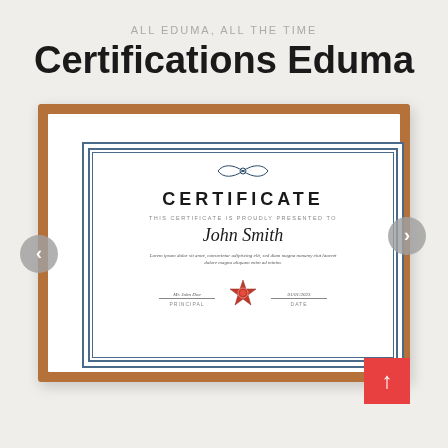ALL EDUMA, ALL THE TIME
Certifications Eduma
[Figure (illustration): A decorative certificate template in a wooden frame showing 'CERTIFICATE' with name 'John Smith', lorem ipsum text, a red wax seal, principal and date fields, with navigation arrows on left and right sides, and a red scroll-to-top button at bottom right.]